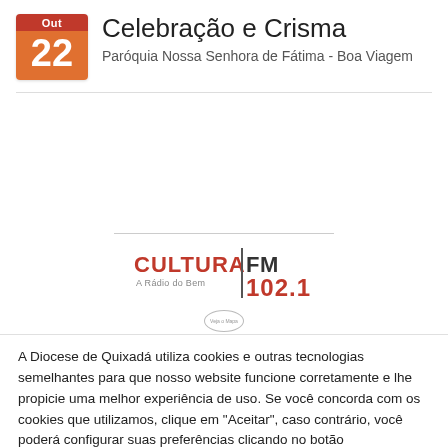[Figure (illustration): Calendar icon showing 'Out' in red at top and '22' in orange below]
Celebração e Crisma
Paróquia Nossa Senhora de Fátima - Boa Viagem
[Figure (logo): Cultura FM 102.1 - A Rádio do Bem logo with orange and dark red text and vertical bar separator]
A Diocese de Quixadá utiliza cookies e outras tecnologias semelhantes para que nosso website funcione corretamente e lhe propicie uma melhor experiência de uso. Se você concorda com os cookies que utilizamos, clique em "Aceitar", caso contrário, você poderá configurar suas preferências clicando no botão "Configurações de cookies". Para saber mais sobre os cookies e outras tecnologias que utilizamos, convidamos você a acessar nossa Política de Privacidade e nossa Política de Cookies.